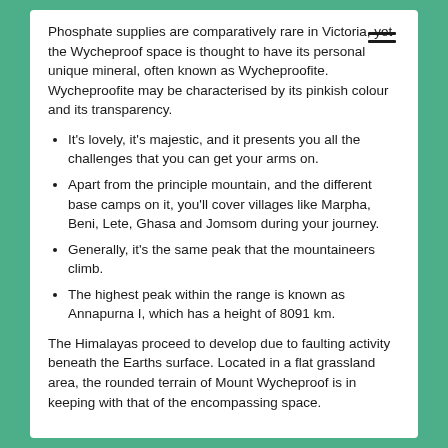Phosphate supplies are comparatively rare in Victoria, yet the Wycheproof space is thought to have its personal unique mineral, often known as Wycheproofite. Wycheproofite may be characterised by its pinkish colour and its transparency.
It's lovely, it's majestic, and it presents you all the challenges that you can get your arms on.
Apart from the principle mountain, and the different base camps on it, you'll cover villages like Marpha, Beni, Lete, Ghasa and Jomsom during your journey.
Generally, it's the same peak that the mountaineers climb.
The highest peak within the range is known as Annapurna I, which has a height of 8091 km.
The Himalayas proceed to develop due to faulting activity beneath the Earths surface. Located in a flat grassland area, the rounded terrain of Mount Wycheproof is in keeping with that of the encompassing space.